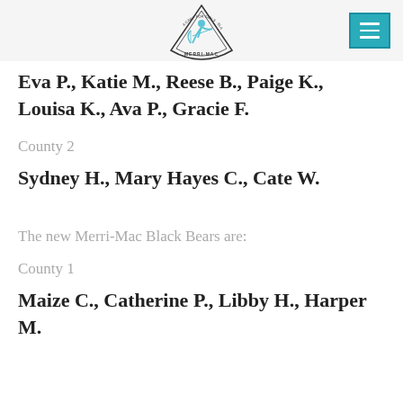[Figure (logo): Merri-Mac camp for girls logo — arrowhead shape with archer silhouette and text 'MERRI-MAC', 'A CAMP FOR GIRLS', 'BLACK MOUNTAIN, NC']
Eva P., Katie M., Reese B., Paige K., Louisa K., Ava P., Gracie F.
County 2
Sydney H., Mary Hayes C., Cate W.
The new Merri-Mac Black Bears are:
County 1
Maize C., Catherine P., Libby H., Harper M.